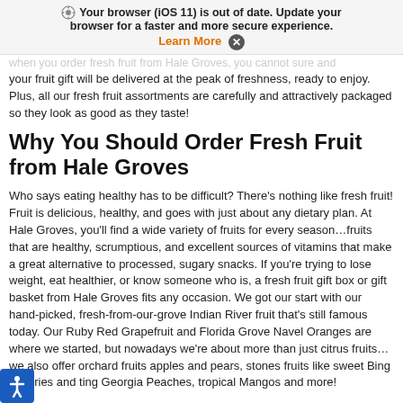[Figure (screenshot): Browser update notification banner with gear icon, bold text warning about iOS 11 browser being out of date, and orange Learn More link with close button]
when you order fresh fruit from Hale Groves, you cannot sure and your fruit gift will be delivered at the peak of freshness, ready to enjoy. Plus, all our fresh fruit assortments are carefully and attractively packaged so they look as good as they taste!
Why You Should Order Fresh Fruit from Hale Groves
Who says eating healthy has to be difficult? There's nothing like fresh fruit! Fruit is delicious, healthy, and goes with just about any dietary plan. At Hale Groves, you'll find a wide variety of fruits for every season…fruits that are healthy, scrumptious, and excellent sources of vitamins that make a great alternative to processed, sugary snacks. If you're trying to lose weight, eat healthier, or know someone who is, a fresh fruit gift box or gift basket from Hale Groves fits any occasion. We got our start with our hand-picked, fresh-from-our-grove Indian River fruit that's still famous today. Our Ruby Red Grapefruit and Florida Grove Navel Oranges are where we started, but nowadays we're about more than just citrus fruits…we also offer orchard fruits apples and pears, stones fruits like sweet Bing Cherries and ting Georgia Peaches, tropical Mangos and more!